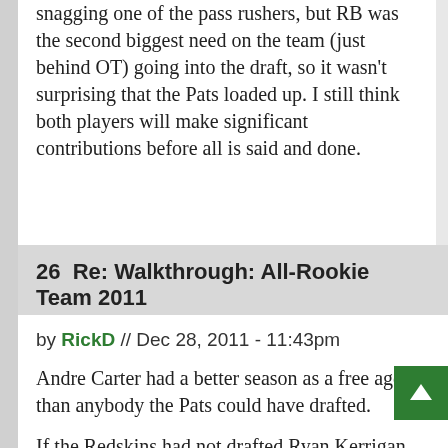snagging one of the pass rushers, but RB was the second biggest need on the team (just behind OT) going into the draft, so it wasn't surprising that the Pats loaded up. I still think both players will make significant contributions before all is said and done.
26  Re: Walkthrough: All-Rookie Team 2011
by RickD // Dec 28, 2011 - 11:43pm
Andre Carter had a better season as a free agent than anybody the Pats could have drafted.
If the Redskins had not drafted Ryan Kerrigan one slot ahead of the Pats 1st pick, maybe they would have taken him